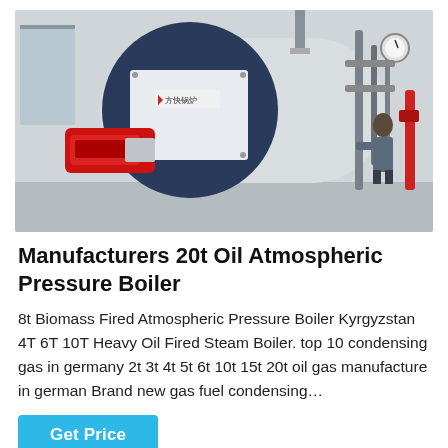[Figure (photo): Industrial oil-fired atmospheric pressure boiler in a factory/installation setting. A large cylindrical boiler with a Chinese brand logo (方快锅炉) is visible on the front panel, with a red burner attached at the bottom-left. Pipes, gauges, and a worker standing to the right side are visible.]
Manufacturers 20t Oil Atmospheric Pressure Boiler
8t Biomass Fired Atmospheric Pressure Boiler Kyrgyzstan 4T 6T 10T Heavy Oil Fired Steam Boiler. top 10 condensing gas in germany 2t 3t 4t 5t 6t 10t 15t 20t oil gas manufacture in german Brand new gas fuel condensing…
Get Price